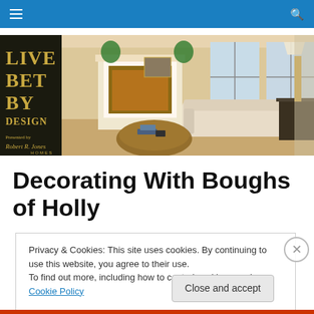Navigation bar with hamburger menu and search icon
[Figure (illustration): Live Better By Design banner presented by Robert R. Jones Homes, showing a living room interior with fireplace, sofa, and coffee table.]
Decorating With Boughs of Holly
Privacy & Cookies: This site uses cookies. By continuing to use this website, you agree to their use.
To find out more, including how to control cookies, see here: Cookie Policy
Close and accept